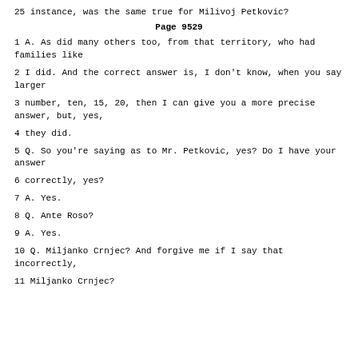25 instance, was the same true for Milivoj Petkovic?
Page 9529
1 A. As did many others too, from that territory, who had families like
2 I did. And the correct answer is, I don't know, when you say larger
3 number, ten, 15, 20, then I can give you a more precise answer, but, yes,
4 they did.
5 Q. So you're saying as to Mr. Petkovic, yes? Do I have your answer
6 correctly, yes?
7 A. Yes.
8 Q. Ante Roso?
9 A. Yes.
10 Q. Miljanko Crnjec? And forgive me if I say that incorrectly,
11 Miljanko Crnjec?